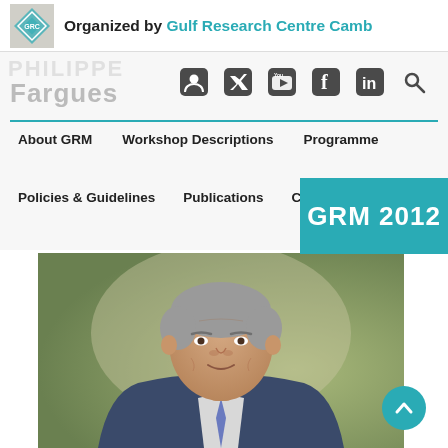Organized by Gulf Research Centre Camb
Fargues
About GRM   Workshop Descriptions   Programme
Policies & Guidelines   Publications   Cont   GRM 2012
[Figure (photo): Portrait photograph of a middle-aged man in a suit with a tie, grey hair, photographed outdoors with blurred green foliage background]
[Figure (other): Scroll-to-top circular teal button with upward chevron arrow]